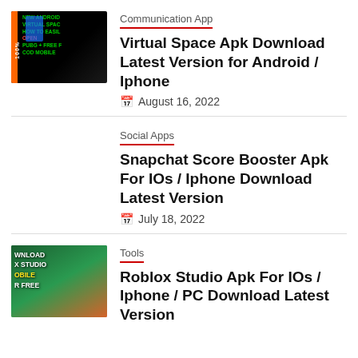[Figure (photo): App thumbnail for Virtual Space Apk — dark background with green text, orange sidebar, blue phone graphic]
Communication App
Virtual Space Apk Download Latest Version for Android / Iphone
August 16, 2022
Social Apps
Snapchat Score Booster Apk For IOs / Iphone Download Latest Version
July 18, 2022
[Figure (photo): App thumbnail for Roblox Studio Apk — green and orange background with white bold text: WNLOAD, X STUDIO, OBILE, R FREE]
Tools
Roblox Studio Apk For IOs / Iphone / PC Download Latest Version